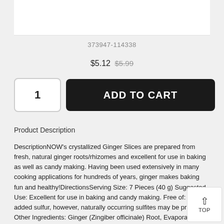[Figure (photo): Product image area (white background)]
373947-114338
$5.12 $5.99
1   ADD TO CART
Product Description
DescriptionNOW's crystallized Ginger Slices are prepared from fresh, natural ginger roots/rhizomes and excellent for use in baking as well as candy making. Having been used extensively in many cooking applications for hundreds of years, ginger makes baking fun and healthy!DirectionsServing Size: 7 Pieces (40 g) Suggested Use: Excellent for use in baking and candy making. Free of: no added sulfur, however, naturally occurring sulfites may be present. Other Ingredients: Ginger (Zingiber officinale) Root, Evaporated Cane Juice and Cane Sugar. Warnings: None Disclaimers: NoneRecommended Daily Allowance